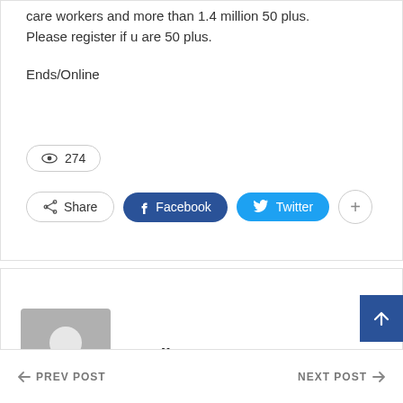care workers and more than 1.4 million 50 plus. Please register if u are 50 plus.
Ends/Online
274 views
Share  Facebook  Twitter  +
Onlinenews
PREV POST   NEXT POST